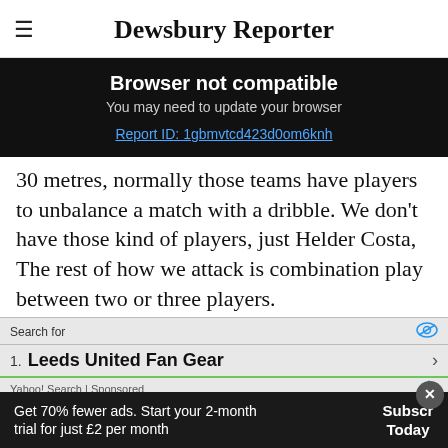Dewsbury Reporter
Browser not compatible
You may need to update your browser
Report ID: 1gbmvtcd423d0om6knh
30 metres, normally those teams have players to unbalance a match with a dribble. We don't have those kind of players, just Helder Costa, The rest of how we attack is combination play between two or three players.
[Figure (screenshot): Advertisement banner: Search for Leeds United Fan Gear - Yahoo! Search Sponsored]
“After the first half I said that to the players, try
Get 70% fewer ads. Start your 2-month trial for just £2 per month   Subscr Today